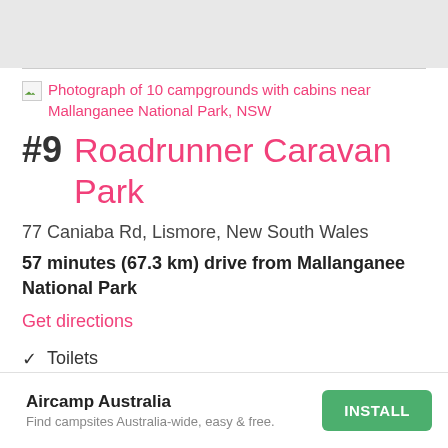[Figure (screenshot): Top grey navigation/status bar area]
Photograph of 10 campgrounds with cabins near Mallanganee National Park, NSW
#9 Roadrunner Caravan Park
77 Caniaba Rd, Lismore, New South Wales
57 minutes (67.3 km) drive from Mallanganee National Park
Get directions
✓  Toilets
✓  Drinking Water
Aircamp Australia
Find campsites Australia-wide, easy & free.